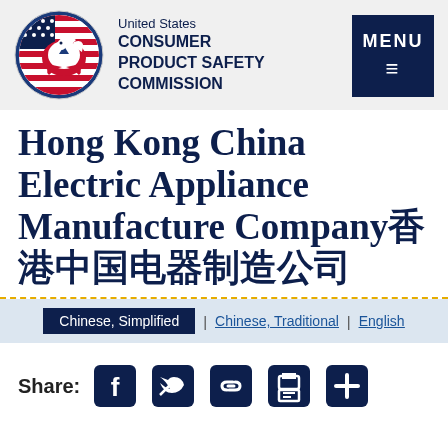[Figure (logo): United States Consumer Product Safety Commission eagle logo on circular background with US flag elements]
United States CONSUMER PRODUCT SAFETY COMMISSION
[Figure (other): MENU button (hamburger menu icon on dark navy background)]
Hong Kong China Electric Appliance Manufacture Company（香港中国电器制造公司）
Chinese, Simplified | Chinese, Traditional | English
Share: